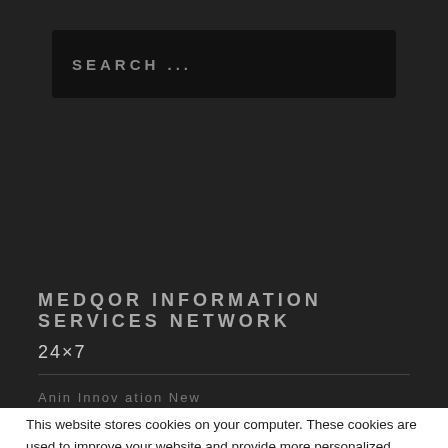[Figure (screenshot): Dark-themed website search bar with placeholder text SEARCH ...]
MEDQOR INFORMATION SERVICES NETWORK
24×7
This website stores cookies on your computer. These cookies are used to improve your website and provide more personalized services to you, both on this website and through other media. To find out more about the cookies we use, see our Privacy Policy.
Accept